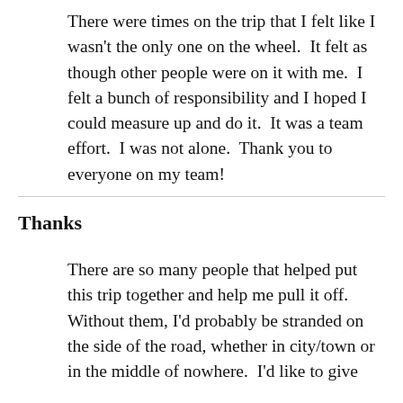There were times on the trip that I felt like I wasn't the only one on the wheel.  It felt as though other people were on it with me.  I felt a bunch of responsibility and I hoped I could measure up and do it.  It was a team effort.  I was not alone.  Thank you to everyone on my team!
Thanks
There are so many people that helped put this trip together and help me pull it off.  Without them, I'd probably be stranded on the side of the road, whether in city/town or in the middle of nowhere.  I'd like to give